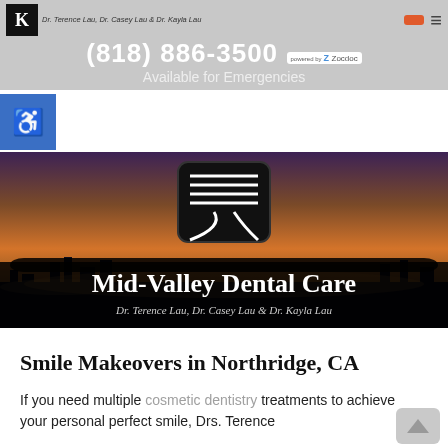(818) 886-3500 | Available for Emergencies | Dr. Terence Lau, Dr. Casey Lau & Dr. Kayla Lau
[Figure (screenshot): Mid-Valley Dental Care hero banner with dental logo icon and sunset cityscape background. Shows practice name 'Mid-Valley Dental Care' and sub-line 'Dr. Terence Lau, Dr. Casey Lau & Dr. Kayla Lau']
Smile Makeovers in Northridge, CA
If you need multiple cosmetic dentistry treatments to achieve your personal perfect smile, Drs. Terence